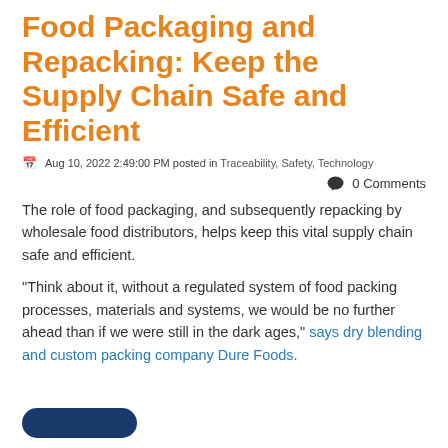Food Packaging and Repacking: Keep the Supply Chain Safe and Efficient
Aug 10, 2022 2:49:00 PM posted in Traceability, Safety, Technology
0 Comments
The role of food packaging, and subsequently repacking by wholesale food distributors, helps keep this vital supply chain safe and efficient.
"Think about it, without a regulated system of food packing processes, materials and systems, we would be no further ahead than if we were still in the dark ages," says dry blending and custom packing company Dure Foods.